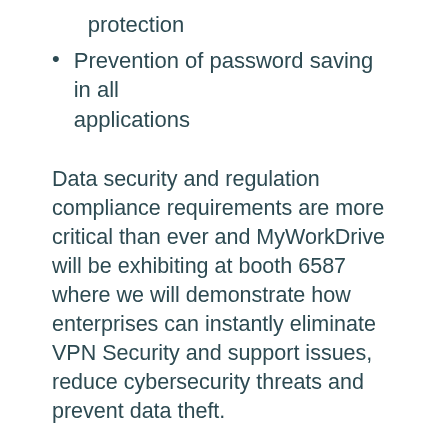protection
Prevention of password saving in all applications
Data security and regulation compliance requirements are more critical than ever and MyWorkDrive will be exhibiting at booth 6587 where we will demonstrate how enterprises can instantly eliminate VPN Security and support issues, reduce cybersecurity threats and prevent data theft.
Join MyWorkDrive with a Free RSA Conference Guest Pass: XEU9MYWRKDRV
Register
When: March 4th – 8th